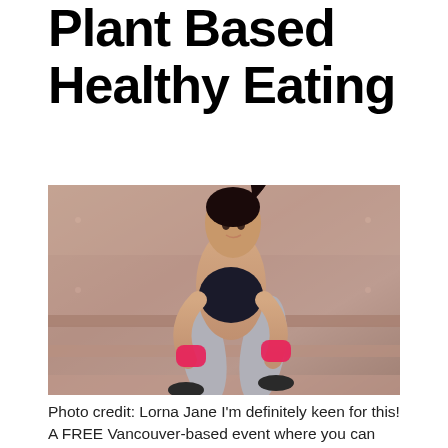Plant Based Healthy Eating
[Figure (photo): A young woman in athletic wear — floral sports bra and gray leggings with pink hand wraps — sitting on concrete steps outdoors, looking to the side.]
Photo credit: Lorna Jane I'm definitely keen for this! A FREE Vancouver-based event where you can get a quick workout, learn tips on vegetarian eating, and a build healthy lifestyle